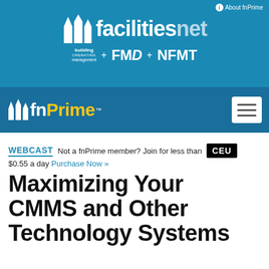[Figure (logo): facilitiesnet logo with building operating management + FMD + NFMT on blue background]
[Figure (logo): fnPrime logo with hamburger menu icon on dark blue background]
WEBCAST  Not a fnPrime member? Join for less than  CEU  $0.55 a day  Purchase Now »
Maximizing Your CMMS and Other Technology Systems